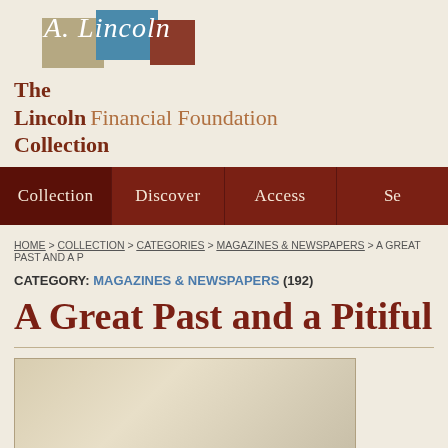[Figure (logo): The Lincoln Financial Foundation Collection logo with colored tiles (tan, blue, brown) and cursive A. Lincoln signature]
The Lincoln Financial Foundation Collection
Collection | Discover | Access | Se
HOME > COLLECTION > CATEGORIES > MAGAZINES & NEWSPAPERS > A GREAT PAST AND A P
CATEGORY: MAGAZINES & NEWSPAPERS (192)
A Great Past and a Pitiful P
[Figure (illustration): Partial thumbnail image of a document or magazine page, beige/tan tones]